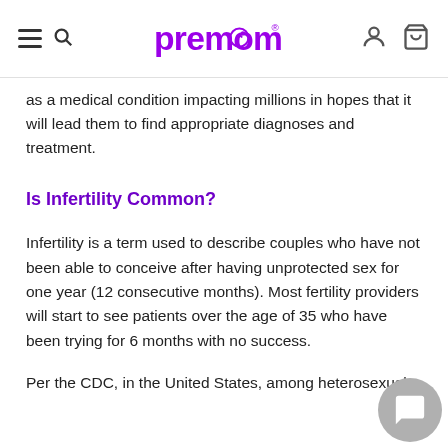premom (navigation header with hamburger menu, search, user, and cart icons)
as a medical condition impacting millions in hopes that it will lead them to find appropriate diagnoses and treatment.
Is Infertility Common?
Infertility is a term used to describe couples who have not been able to conceive after having unprotected sex for one year (12 consecutive months). Most fertility providers will start to see patients over the age of 35 who have been trying for 6 months with no success.
Per the CDC, in the United States, among heterosexual